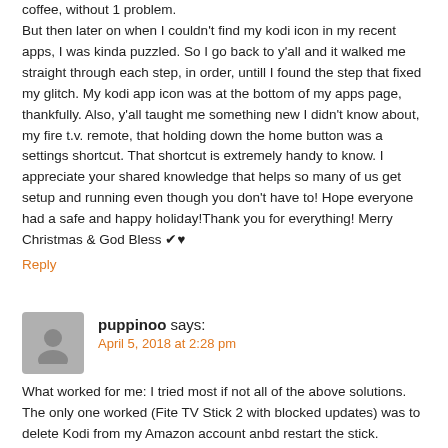coffee, without 1 problem.
But then later on when I couldn't find my kodi icon in my recent apps, I was kinda puzzled. So I go back to y'all and it walked me straight through each step, in order, untill I found the step that fixed my glitch. My kodi app icon was at the bottom of my apps page, thankfully. Also, y'all taught me something new I didn't know about, my fire t.v. remote, that holding down the home button was a settings shortcut. That shortcut is extremely handy to know. I appreciate your shared knowledge that helps so many of us get setup and running even though you don't have to! Hope everyone had a safe and happy holiday!Thank you for everything! Merry Christmas & God Bless ✔♥
Reply
puppinoo says:
April 5, 2018 at 2:28 pm
What worked for me: I tried most if not all of the above solutions. The only one worked (Fite TV Stick 2 with blocked updates) was to delete Kodi from my Amazon account anbd restart the stick.